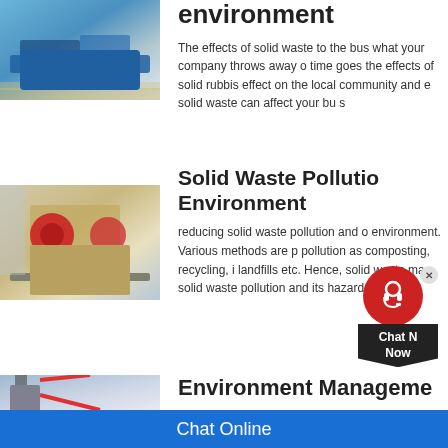environment
[Figure (photo): Blue industrial crushing/mining machine on rocky ground]
The effects of solid waste to the bus what your company throws away o time goes the effects of solid rubbis effect on the local community and e solid waste can affect your bu s
Solid Waste Pollutio Environment
[Figure (photo): Beige/tan industrial jaw crusher machine on trailer]
reducing solid waste pollution and o environment. Various methods are p pollution as composting, recycling, i landfills etc. Hence, solid waste ma solid waste pollution and its hazardo
Environment Manageme
[Figure (photo): Partial view of industrial equipment against blue sky]
Chat Online